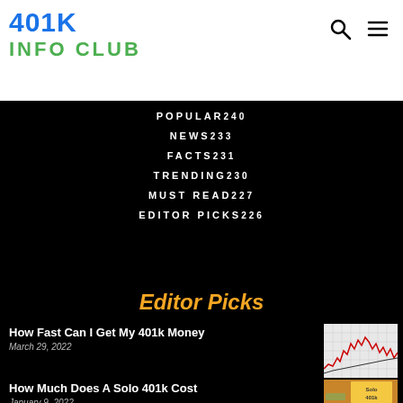401K INFO CLUB
POPULAR 240
NEWS 233
FACTS 231
TRENDING 230
MUST READ 227
EDITOR PICKS 226
Editor Picks
How Fast Can I Get My 401k Money
March 29, 2022
[Figure (photo): Stock market chart showing candlestick/line graph with red trend line]
How Much Does A Solo 401k Cost
January 9, 2022
[Figure (photo): Yellow sticky note reading Solo 401k on a wooden desk with money and calculator]